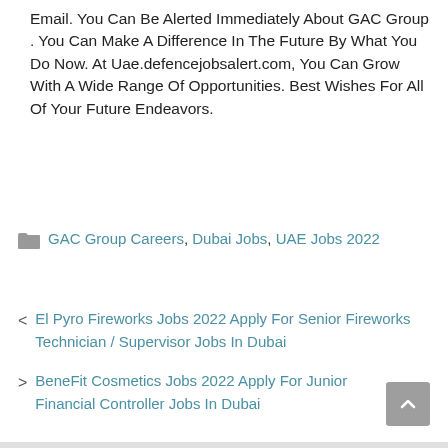Email. You Can Be Alerted Immediately About GAC Group . You Can Make A Difference In The Future By What You Do Now. At Uae.defencejobsalert.com, You Can Grow With A Wide Range Of Opportunities. Best Wishes For All Of Your Future Endeavors.
GAC Group Careers, Dubai Jobs, UAE Jobs 2022
< El Pyro Fireworks Jobs 2022 Apply For Senior Fireworks Technician / Supervisor Jobs In Dubai
> BeneFit Cosmetics Jobs 2022 Apply For Junior Financial Controller Jobs In Dubai